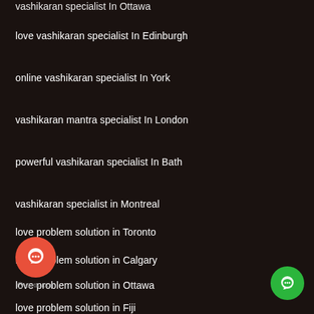vashikaran specialist In Ottawa (truncated at top)
love vashikaran specialist In Edinburgh
online vashikaran specialist In York
vashikaran mantra specialist In London
powerful vashikaran specialist In Bath
vashikaran specialist in Montreal
love problem solution in Toronto
love problem solution in Calgary
love problem solution in Ottawa
love problem solution in Fiji
[Figure (illustration): Red circular chat button with speech bubble icon, GetButton label below it; green circular button at bottom right with chat icon]